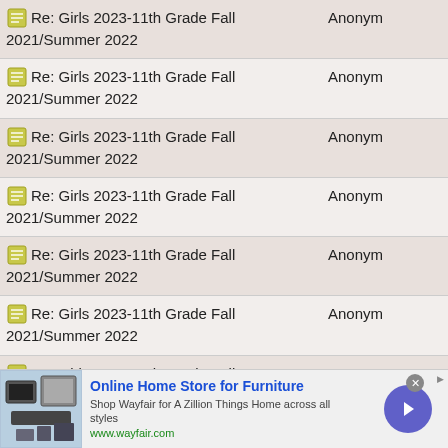| Subject | Author |
| --- | --- |
| Re: Girls 2023-11th Grade Fall 2021/Summer 2022 | Anonym |
| Re: Girls 2023-11th Grade Fall 2021/Summer 2022 | Anonym |
| Re: Girls 2023-11th Grade Fall 2021/Summer 2022 | Anonym |
| Re: Girls 2023-11th Grade Fall 2021/Summer 2022 | Anonym |
| Re: Girls 2023-11th Grade Fall 2021/Summer 2022 | Anonym |
| Re: Girls 2023-11th Grade Fall 2021/Summer 2022 | Anonym |
| Re: Girls 2023-11th Grade Fall 2021/Summer 2022 | Anonym |
| Re: Girls 2023-11th Grade Fall 2021/Summer 2022 | Anonym |
| Re: Girls 2023-11th Grade Fall 2021/Summer 2022 | Anonym |
[Figure (infographic): Advertisement banner for Wayfair Online Home Store for Furniture with image of furniture/appliances, text 'Online Home Store for Furniture', 'Shop Wayfair for A Zillion Things Home across all styles', 'www.wayfair.com', a close button, and a forward arrow button]